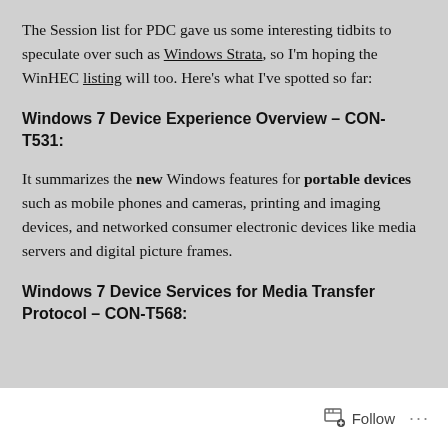The Session list for PDC gave us some interesting tidbits to speculate over such as Windows Strata, so I'm hoping the WinHEC listing will too. Here's what I've spotted so far:
Windows 7 Device Experience Overview – CON-T531:
It summarizes the new Windows features for portable devices such as mobile phones and cameras, printing and imaging devices, and networked consumer electronic devices like media servers and digital picture frames.
Windows 7 Device Services for Media Transfer Protocol – CON-T568: